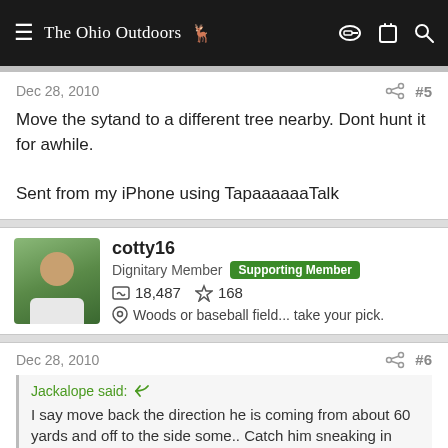The Ohio Outdoors
Dec 28, 2010   #5
Move the sytand to a different tree nearby. Dont hunt it for awhile.

Sent from my iPhone using TapaaaaaaTalk
cotty16
Dignitary Member  Supporting Member
18,487   168
Woods or baseball field... take your pick.
Dec 28, 2010   #6
Jackalope said:
I say move back the direction he is coming from about 60 yards and off to the side some.. Catch him sneaking in while his attention is